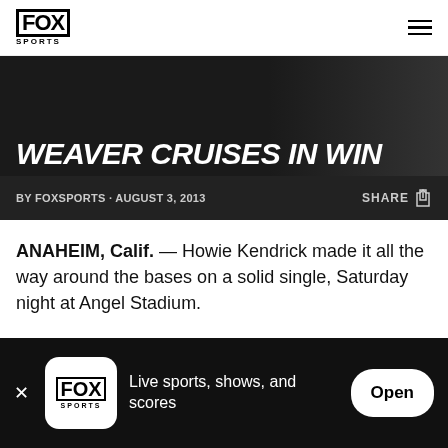FOX SPORTS
WEAVER CRUISES IN WIN
BY FOXSPORTS · AUGUST 3, 2013
ANAHEIM, Calif. — Howie Kendrick made it all the way around the bases on a solid single, Saturday night at Angel Stadium.
Yes, you read that right – a single.
In the fifth inning with the...
Live sports, shows, and scores